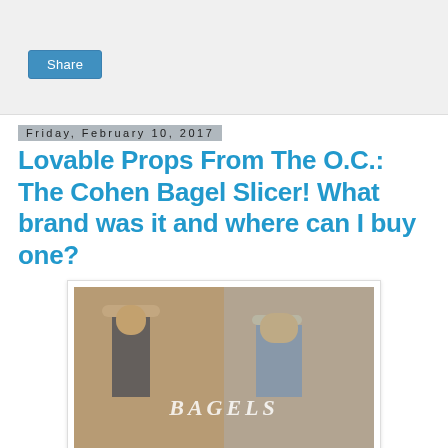[Figure (screenshot): Share button UI element in a gray banner area]
Friday, February 10, 2017
Lovable Props From The O.C.: The Cohen Bagel Slicer! What brand was it and where can I buy one?
[Figure (photo): Two men from The O.C. TV show holding bagels with text overlay reading BAGELS]
The Cohens loved them some bagels, in fact it was practically considered currency on The O.C..Among their bagel love was their equal love for their bagel slicer. Their